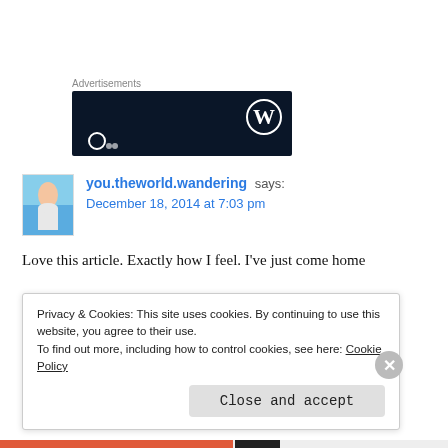Advertisements
[Figure (screenshot): Dark navy advertisement banner with WordPress logo (W in circle) on right side and partial text/icons at bottom left]
you.theworld.wandering says: December 18, 2014 at 7:03 pm
Love this article. Exactly how I feel. I've just come home
Privacy & Cookies: This site uses cookies. By continuing to use this website, you agree to their use.
To find out more, including how to control cookies, see here: Cookie Policy
Close and accept